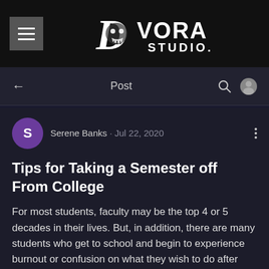[Figure (logo): Dvora Studio logo — hamburger menu icon on dark background, white D with skull illustration and DVORA STUDIO text]
Post
Serene Banks · Jul 22, 2020
Tips for Taking a Semester off From College
For most students, faculty may be the top 4 or 5 decades in their lives. But, in addition, there are many students who get to school and begin to experience burnout or confusion on what they wish to do after college. Sometimes this may result in falling grades, or pupils questioning whether going to school was even the correct choice for them.